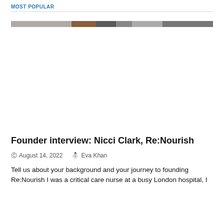MOST POPULAR
[Figure (photo): A narrow horizontal image strip showing a blurred/cropped photograph with brown, grey, and dark tones]
Founder interview: Nicci Clark, Re:Nourish
August 14, 2022   Eva Khan
Tell us about your background and your journey to founding Re:Nourish I was a critical care nurse at a busy London hospital, I